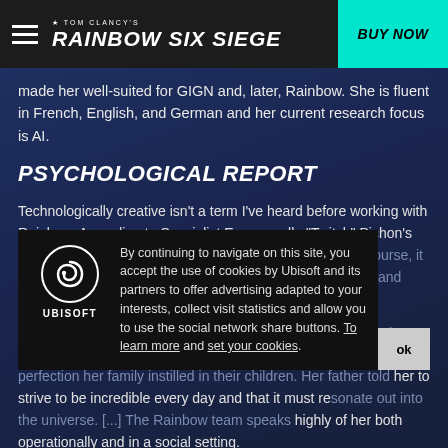TOM CLANCY'S RAINBOW SIX SIEGE | BUY NOW
made her well-suited for GIGN and, later, Rainbow. She is fluent in French, English, and German and her current research focus is AI.
PSYCHOLOGICAL REPORT
Technologically creative isn't a term I've heard before working with Rainbow. According to Specialist Emmanuelle "Twitch" Pichon's field reports, it's the most concise description for her. Of course, it doesn't encapsulate all of who she is. There's more depth and surprises to Pichon than anyone expects. [...]
There is a fierce academic rivalry between Pichon and her sister, a physicist. Nothing serious, she tells me. It's endemic of the perfection her family instilled in their children. Her father told her to strive to be incredible every day and that it must resonate out into the universe. [...] The Rainbow team speaks highly of her both operationally and in a social setting.
By continuing to navigate on this site, you accept the use of cookies by Ubisoft and its partners to offer advertising adapted to your interests, collect visit statistics and allow you to use the social network share buttons. To learn more and set your cookies.